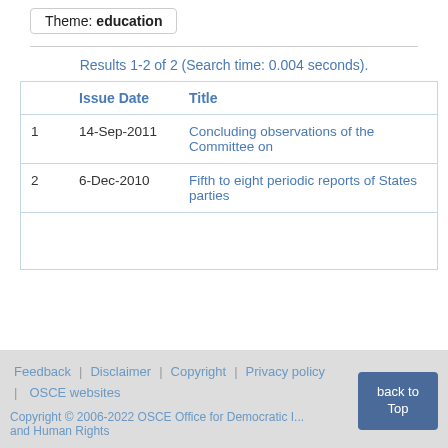Theme: education
Results 1-2 of 2 (Search time: 0.004 seconds).
|  | Issue Date | Title |
| --- | --- | --- |
| 1 | 14-Sep-2011 | Concluding observations of the Committee on |
| 2 | 6-Dec-2010 | Fifth to eight periodic reports of States parties |
|  |  |  |
Feedback | Disclaimer | Copyright | Privacy policy | OSCE websites
Copyright © 2006-2022 OSCE Office for Democratic I... and Human Rights